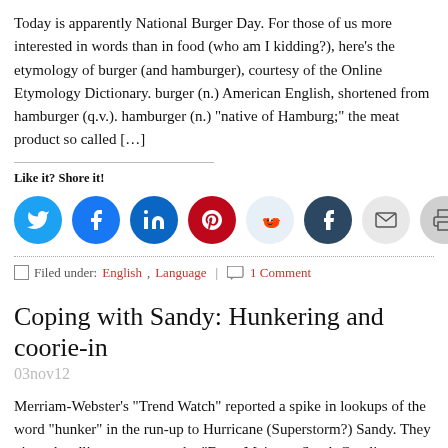Today is apparently National Burger Day. For those of us more interested in words than in food (who am I kidding?), here’s the etymology of burger (and hamburger), courtesy of the Online Etymology Dictionary. burger (n.) American English, shortened from hamburger (q.v.). hamburger (n.) “native of Hamburg;” the meat product so called […]
Like it? Shore it!
[Figure (infographic): Row of social share buttons: Twitter (blue), Facebook (blue), LinkedIn (dark blue), Pinterest (red), Reddit (light blue), Tumblr (dark navy), Email (light grey), Print (grey)]
Filed under: English, Language  |  1 Comment
Coping with Sandy: Hunkering and coorie-in
03nov12
Merriam-Webster’s “Trend Watch” reported a spike in lookups of the word “hunker” in the run-up to Hurricane (Superstorm?) Sandy. They gave a headline as an example: “From Maine to South Carolina, states hunk down before storm.” Here’s the definition of hunker, from the Online Etymology D…